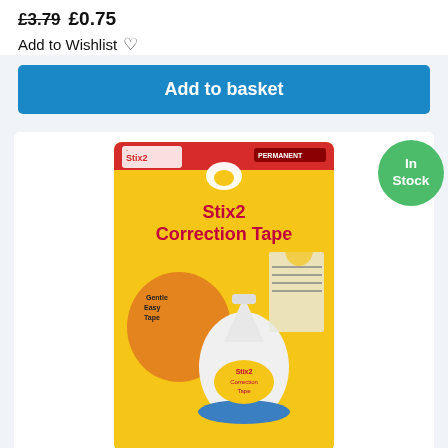£3.79 £0.75
Add to Wishlist ♡
Add to basket
[Figure (photo): Product photo of Stix2 Correction Tape in yellow packaging with a correction tape dispenser shown in the foreground. An 'In Stock' green circle badge is shown in the top right.]